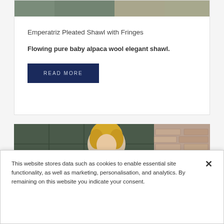[Figure (photo): Cropped top portion of a product photo showing two women wearing shawls]
Emperatriz Pleated Shawl with Fringes
Flowing pure baby alpaca wool elegant shawl.
READ MORE
[Figure (photo): Woman with blonde curly hair wearing a grey cape/shawl, standing against a tiled green wall and brick wall background]
This website stores data such as cookies to enable essential site functionality, as well as marketing, personalisation, and analytics. By remaining on this website you indicate your consent.